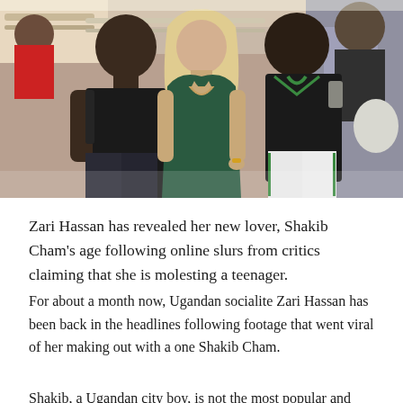[Figure (photo): Three people posing together in a nightclub or event setting. A tall dark-skinned man in a black sleeveless top on the left, a light-skinned woman in a dark green velvet low-cut dress in the center, and another man in a black and green jersey on the right.]
Zari Hassan has revealed her new lover, Shakib Cham's age following online slurs from critics claiming that she is molesting a teenager.
For about a month now, Ugandan socialite Zari Hassan has been back in the headlines following footage that went viral of her making out with a one Shakib Cham.
Shakib, a Ugandan city boy, is not the most popular and